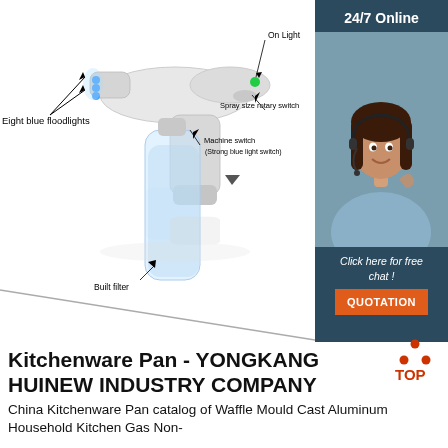[Figure (photo): Product image of a handheld nano spray disinfection gun (atomizer device) shown in white with a clear liquid bottle attached. Labeled annotations point to: 'Eight blue floodlights', 'On Light', 'Spray size rotary switch', 'Machine switch (Strong blue light switch)', 'Built filter'. The image includes a reflection below.]
[Figure (photo): Sidebar showing a customer service agent (woman with headset, smiling) on a dark blue background. Header says '24/7 Online'. Below is text 'Click here for free chat!' and an orange button labeled 'QUOTATION'.]
Kitchenware Pan - YONGKANG HUINEW INDUSTRY COMPANY
China Kitchenware Pan catalog of Waffle Mould Cast Aluminum Household Kitchen Gas Non-Stick Waffle Baking Mould Pan Household Mold...